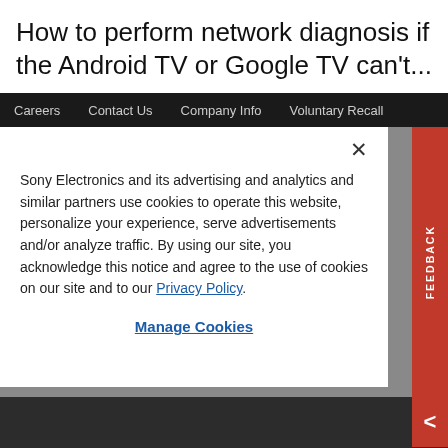How to perform network diagnosis if the Android TV or Google TV can't...
Careers   Contact Us   Company Info   Voluntary Recall
Sony Electronics and its advertising and analytics and similar partners use cookies to operate this website, personalize your experience, serve advertisements and/or analyze traffic. By using our site, you acknowledge this notice and agree to the use of cookies on our site and to our Privacy Policy.
Manage Cookies